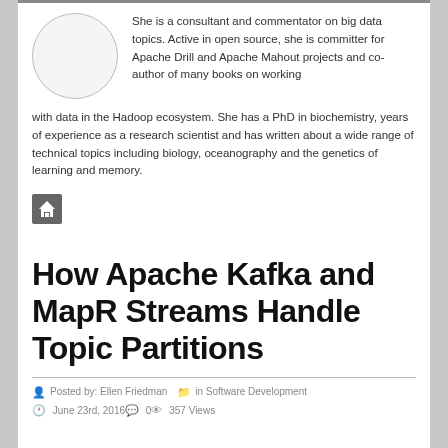She is a consultant and commentator on big data topics. Active in open source, she is committer for Apache Drill and Apache Mahout projects and co-author of many books on working with data in the Hadoop ecosystem. She has a PhD in biochemistry, years of experience as a research scientist and has written about a wide range of technical topics including biology, oceanography and the genetics of learning and memory.
[Figure (illustration): Home icon button - small grey square with white house icon]
How Apache Kafka and MapR Streams Handle Topic Partitions
Posted by: Ellen Friedman   in Software Development   June 23rd, 2016   0   357 Views